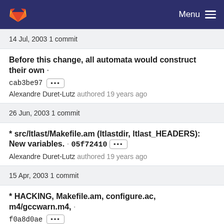GitLab Menu
14 Jul, 2003 1 commit
Before this change, all automata would construct their own · cab3be97 ··· Alexandre Duret-Lutz authored 19 years ago
26 Jun, 2003 1 commit
* src/ltlast/Makefile.am (ltlastdir, ltlast_HEADERS): New variables. · 05f72410 ··· Alexandre Duret-Lutz authored 19 years ago
15 Apr, 2003 1 commit
* HACKING, Makefile.am, configure.ac, m4/gccwarn.m4, · f0a8d0ae ··· Alexandre Duret-Lutz authored 19 years ago
[Figure (other): Loading spinner (circular progress indicator)]